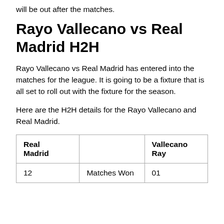will be out after the matches.
Rayo Vallecano vs Real Madrid H2H
Rayo Vallecano vs Real Madrid has entered into the matches for the league. It is going to be a fixture that is all set to roll out with the fixture for the season.
Here are the H2H details for the Rayo Vallecano and Real Madrid.
| Real Madrid |  | Vallecano Ray |
| --- | --- | --- |
| 12 | Matches Won | 01 |